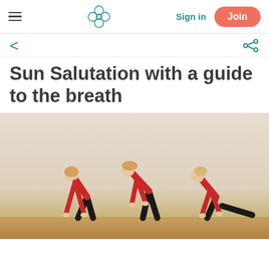Sign in | Join
Sun Salutation with a guide to the breath
[Figure (photo): Three women in red tops and black pants performing yoga sun salutation poses in sequence: deep forward fold, standing forward fold, and low lunge/plank position, on a wooden floor with a light beige background.]